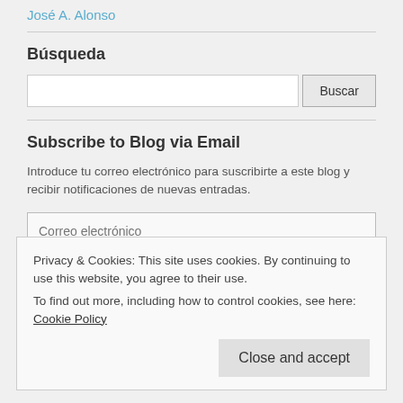José A. Alonso
Búsqueda
Buscar (search input with button)
Subscribe to Blog via Email
Introduce tu correo electrónico para suscribirte a este blog y recibir notificaciones de nuevas entradas.
Correo electrónico (email input field)
Subscribe (button)
Privacy & Cookies: This site uses cookies. By continuing to use this website, you agree to their use.
To find out more, including how to control cookies, see here: Cookie Policy
Close and accept (button)